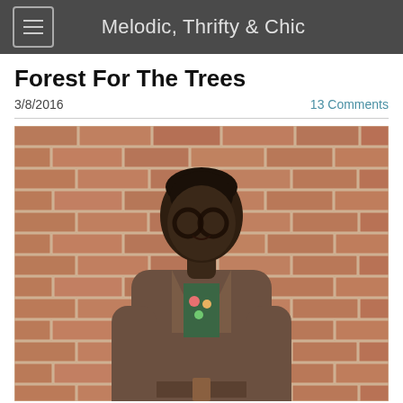Melodic, Thrifty & Chic
Forest For The Trees
3/8/2016
13 Comments
[Figure (photo): Person with short natural hair and round glasses wearing a brown belted wool coat over a floral top with denim, standing in front of a red brick wall.]